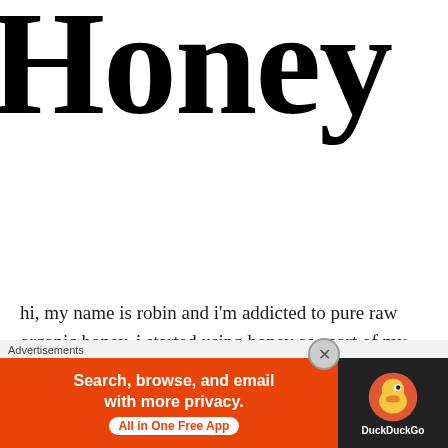Honey
hi, my name is robin and i'm addicted to pure raw organic honey.  i started using honey as apart of my beauty regimen for almost three years and i love it.  honey is a natural beauty product has unlimited possibilities beyond a sweetener for your tea.  it can be
[Figure (other): DuckDuckGo advertisement banner: orange background with text 'Search, browse, and email with more privacy. All in One Free App' and DuckDuckGo logo on dark background]